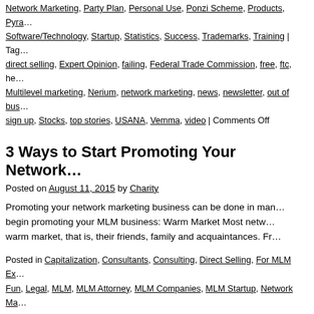Network Marketing, Party Plan, Personal Use, Ponzi Scheme, Products, Pyra… Software/Technology, Startup, Statistics, Success, Trademarks, Training | Tag… direct selling, Expert Opinion, failing, Federal Trade Commission, free, ftc, he… Multilevel marketing, Nerium, network marketing, news, newsletter, out of bus… sign up, Stocks, top stories, USANA, Vemma, video | Comments Off
3 Ways to Start Promoting Your Network…
Posted on August 11, 2015 by Charity
Promoting your network marketing business can be done in ma… begin promoting your MLM business: Warm Market Most netw… warm market, that is, their friends, family and acquaintances. Fr…
Posted in Capitalization, Consultants, Consulting, Direct Selling, For MLM Ex… Fun, Legal, MLM, MLM Attorney, MLM Companies, MLM Startup, Network Ma… Sales/Selling, Social Networking, Startup, Success, Training, Warm Market | T… pages, direct sales, direct selling, downline, Facebook, family, free classifieds… Google+, home business, local groups, mlm, multilevel, Multilevel marketing, … specials, promos, promote, Sales, selling, social media, Twitter, warm market…